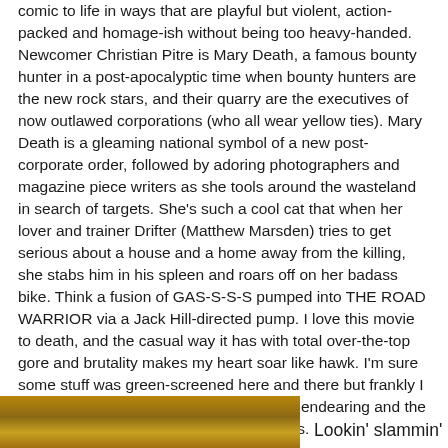comic to life in ways that are playful but violent, action-packed and homage-ish without being too heavy-handed. Newcomer Christian Pitre is Mary Death, a famous bounty hunter in a post-apocalyptic time when bounty hunters are the new rock stars, and their quarry are the executives of now outlawed corporations (who all wear yellow ties). Mary Death is a gleaming national symbol of a new post-corporate order, followed by adoring photographers and magazine piece writers as she tools around the wasteland in search of targets. She's such a cool cat that when her lover and trainer Drifter (Matthew Marsden) tries to get serious about a house and a home away from the killing, she stabs him in his spleen and roars off on her badass bike. Think a fusion of GAS-S-S-S pumped into THE ROAD WARRIOR via a Jack Hill-directed pump. I love this movie to death, and the casual way it has with total over-the-top gore and brutality makes my heart soar like hawk. I'm sure some stuff was green-screened here and there but frankly I didn't notice, because the characters are endearing and the action refreshing, even Hawksian at times.
[Figure (photo): Partial image visible at bottom left of page, appears to be a warm golden/brown toned photograph, likely a movie still]
Lookin' slammin'